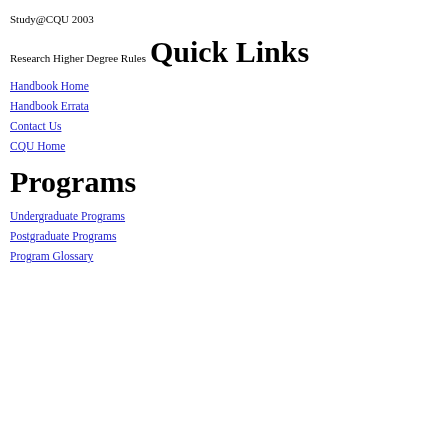Study@CQU 2003
Research Higher Degree Rules
Quick Links
Handbook Home
Handbook Errata
Contact Us
CQU Home
Programs
Undergraduate Programs
Postgraduate Programs
Program Glossary